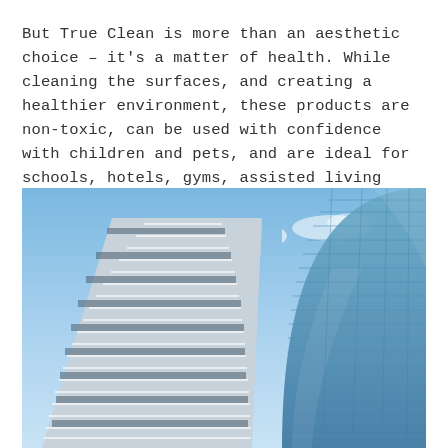But True Clean is more than an aesthetic choice – it's a matter of health. While cleaning the surfaces, and creating a healthier environment, these products are non-toxic, can be used with confidence with children and pets, and are ideal for schools, hotels, gyms, assisted living facilities and anywhere people congregate.
[Figure (photo): Upward-angle photograph of two modern glass and steel high-rise office buildings against a blue sky with light clouds. The left building has angular white-framed horizontal bands; the right building is curved with a blue glass curtain wall facade.]